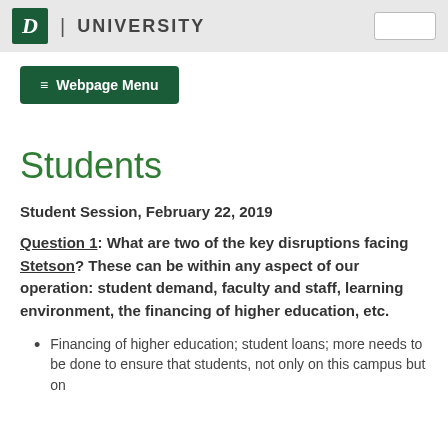D | UNIVERSITY
≡ Webpage Menu
Students
Student Session, February 22, 2019
Question 1: What are two of the key disruptions facing Stetson? These can be within any aspect of our operation: student demand, faculty and staff, learning environment, the financing of higher education, etc.
Financing of higher education; student loans; more needs to be done to ensure that students, not only on this campus but on